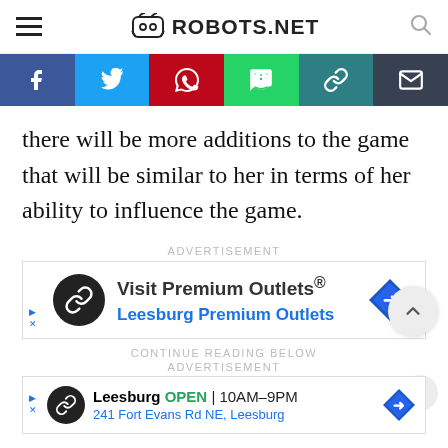ROBOTS.NET
[Figure (infographic): Social share bar with Facebook, Twitter, Pinterest, WhatsApp, copy-link, and email buttons]
there will be more additions to the game that will be similar to her in terms of her ability to influence the game.
ADVERTISEMENT
[Figure (infographic): Advertisement for Visit Premium Outlets® - Leesburg Premium Outlets]
CONTINUE READING BELOW
ADVERTISEMENT
[Figure (infographic): Advertisement for Leesburg Premium Outlets - OPEN 10AM-9PM, 241 Fort Evans Rd NE, Leesburg]